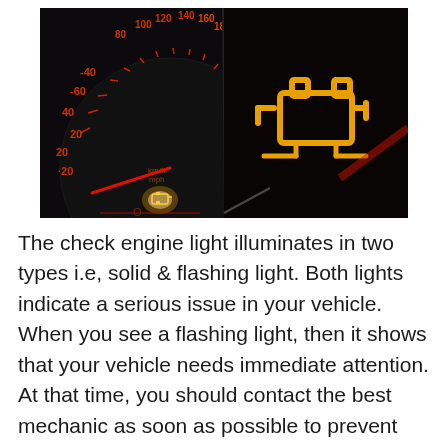[Figure (photo): A car dashboard speedometer showing a check engine warning light glowing orange/white on the left half, and a close-up of a large orange check engine light icon (engine silhouette) on the right half, both on a dark background.]
The check engine light illuminates in two types i.e, solid & flashing light. Both lights indicate a serious issue in your vehicle. When you see a flashing light, then it shows that your vehicle needs immediate attention. At that time, you should contact the best mechanic as soon as possible to prevent serious damage. And in some vehicles, solid lights indicate an urgent situation. In such a case, the light appears red & orange in color instead of appearing yellow. It mainly concludes that you should always diagnose